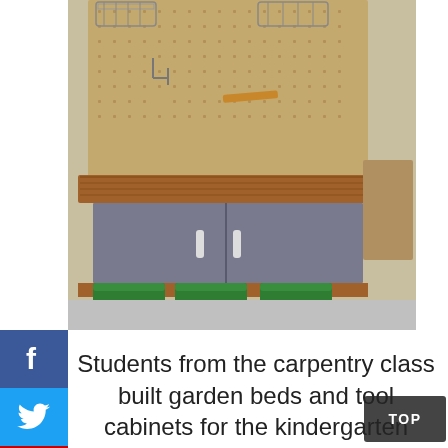[Figure (photo): A wooden tool cabinet with gray doors and a butcher block top, sitting on a base with green storage bins. Behind it is a pegboard wall mounted with wire baskets and hooks for tools. The setting appears to be a garage or workshop.]
Students from the carpentry class built garden beds and tool cabinets for the kindergarten students.